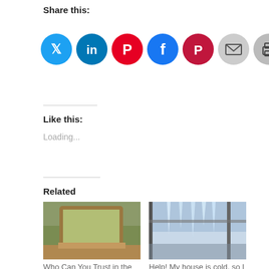Share this:
[Figure (infographic): Row of social share icon buttons: Twitter (blue), LinkedIn (dark blue), Pinterest (red), Facebook (blue), Pocket (dark red), Email (gray), Print (gray)]
Like this:
Loading...
Related
[Figure (photo): Photo of a wooden window frame with a view of green grass outside]
Who Can You Trust in the Construction Industry?
May 14, 2014
In "architecture"
[Figure (photo): Photo of icicles hanging from a window or structure with a winter landscape behind]
Help! My house is cold, so I need my HVAC system fixed. Who do I call?
February 5, 2014
In "architecture"